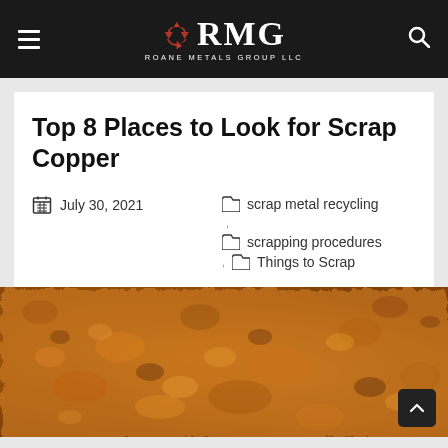RMG ROANE METALS GROUP LLC
Top 8 Places to Look for Scrap Copper
July 30, 2021
scrap metal recycling
scrapping procedures
Things to Scrap
[Figure (photo): Close-up photo of copper scrap material with textured orange-gold metallic surface]